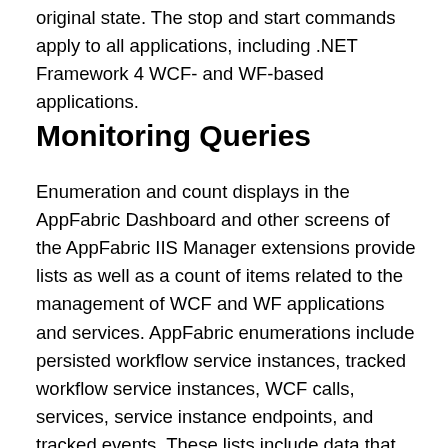original state. The stop and start commands apply to all applications, including .NET Framework 4 WCF- and WF-based applications.
Monitoring Queries
Enumeration and count displays in the AppFabric Dashboard and other screens of the AppFabric IIS Manager extensions provide lists as well as a count of items related to the management of WCF and WF applications and services. AppFabric enumerations include persisted workflow service instances, tracked workflow service instances, WCF calls, services, service instance endpoints, and tracked events. These lists include data that enables you to assess the status of a WCF or WF application. The AppFabric Dashboard displays metrics associated with the items in the lists, and the Action pane provides controls for controlling displayed service instances. Monitoring data for the AppFabric